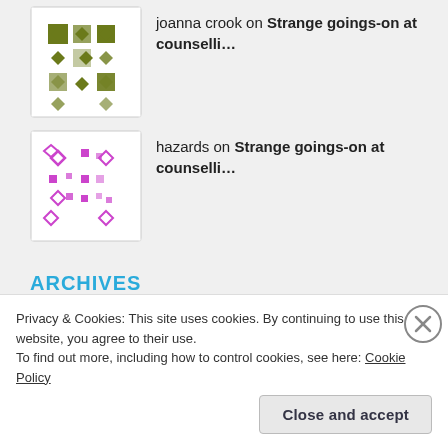joanna crook on Strange goings-on at counselli…
hazards on Strange goings-on at counselli…
ARCHIVES
July 2021
August 2017
Privacy & Cookies: This site uses cookies. By continuing to use this website, you agree to their use.
To find out more, including how to control cookies, see here: Cookie Policy
Close and accept